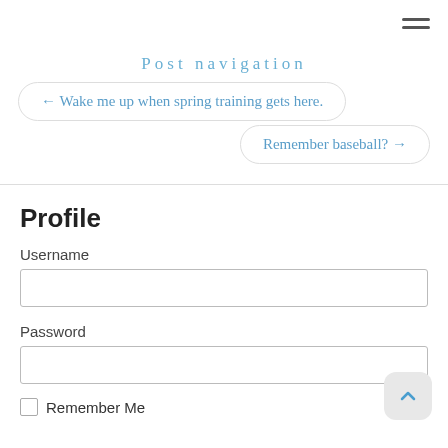Post navigation
← Wake me up when spring training gets here.
Remember baseball? →
Profile
Username
Password
Remember Me